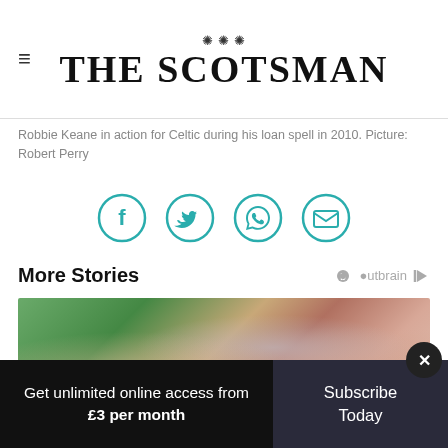THE SCOTSMAN
Robbie Keane in action for Celtic during his loan spell in 2010. Picture: Robert Perry
[Figure (other): Four social share icons in teal circles: Facebook, Twitter, WhatsApp, Email]
More Stories
[Figure (photo): Close-up photo of a hand holding a pen or stylus, blurred green background]
Get unlimited online access from £3 per month
Subscribe Today